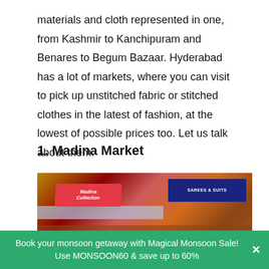materials and cloth represented in one, from Kashmir to Kanchipuram and Benares to Begum Bazaar. Hyderabad has a lot of markets, where you can visit to pick up unstitched fabric or stitched clothes in the latest of fashion, at the lowest of possible prices too. Let us talk about them.
1. Madina Market
[Figure (photo): Street view of Madina Market showing colorful fabric and clothing shops with banners reading 'Madina Collection' and 'Sarees & Suits']
Book your monsoon getaway with Magical Monsoon Sale! Use MONSOON60 & save up to 60%